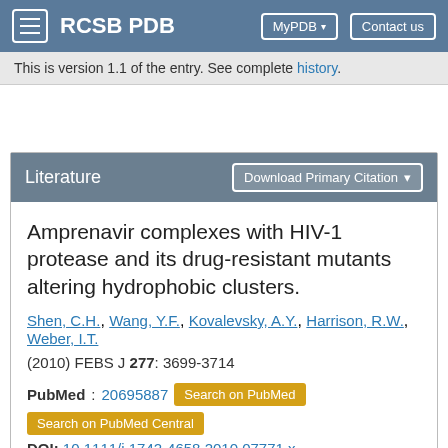RCSB PDB | MyPDB | Contact us
This is version 1.1 of the entry. See complete history.
Literature
Amprenavir complexes with HIV-1 protease and its drug-resistant mutants altering hydrophobic clusters.
Shen, C.H., Wang, Y.F., Kovalevsky, A.Y., Harrison, R.W., Weber, I.T.
(2010) FEBS J 277: 3699-3714
PubMed: 20695887  Search on PubMed  Search on PubMed Central
DOI: 10.1111/j.1742-4658.2010.07771.x
Primary Citation of Related Structures:
3NU3, 3NU4, 3NU5, 3NU6, 3NU9, 3NUJ, 3NUO
PubMed Abstract: